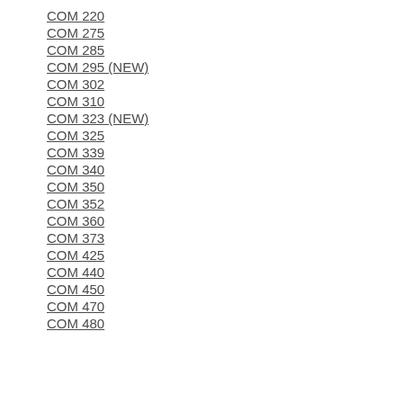COM 220
COM 275
COM 285
COM 295 (NEW)
COM 302
COM 310
COM 323 (NEW)
COM 325
COM 339
COM 340
COM 350
COM 352
COM 360
COM 373
COM 425
COM 440
COM 450
COM 470
COM 480